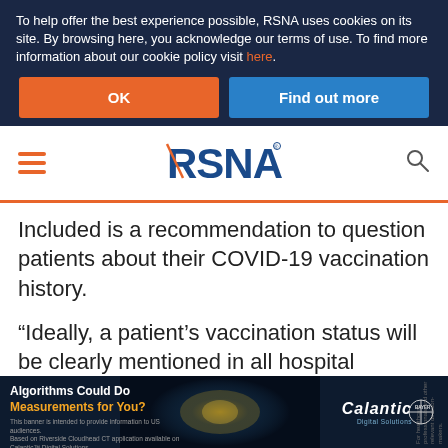To help offer the best experience possible, RSNA uses cookies on its site. By browsing here, you acknowledge our terms of use. To find more information about our cookie policy visit here.
[Figure (screenshot): Two buttons: orange 'OK' button and blue 'Find out more' button]
RSNA (logo with hamburger menu and search icon)
Included is a recommendation to question patients about their COVID-19 vaccination history.
“Ideally, a patient’s vaccination status will be clearly mentioned in all hospital documentation,” said Can Özütemiz, MD, a radiologist at the University of Minnesota and lea…
[Figure (screenshot): Advertisement banner at bottom: 'Algorithms Could Do Measurements for You?' with Calantic and Bayer logos, showing a CT scan image background]